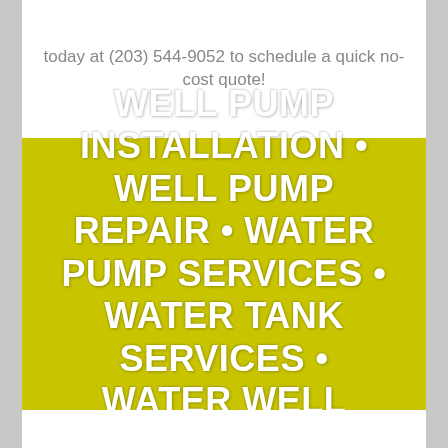today at (203) 544-9052 to schedule a quick no-cost quote!
WELL PUMP INSTALLATION • WELL PUMP REPAIR • WATER PUMP SERVICES • WATER TANK SERVICES • WATER WELL INSPECTIONS